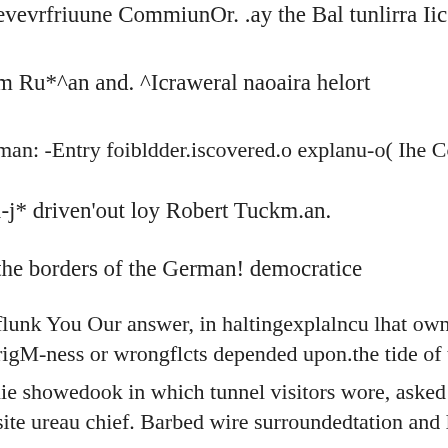evevrfriuune CommiunOr. .ay the Bal tunlirra Iicest
m Ru*^an and. ^Icraweral naoaira helort
man: -Entry foibldder.iscovered.o explanu-o( Ihe Cc<nma_ncUnB.otI
i-j* driven'out loy Robert Tuckm.an.
the borders of the German! democratice
flunk You Our answer, in haltingexplalncu lhat owner* ship of tho tun
rigM-ness or wrongflcts depended upon.the tide of the fence from wh.
lie showedook in which tunnel visitors wore, asked to intcrjbo their op
site ureau chief. Barbed wire surroundedtation and lis permanent-type
. s. reporters} tour eerie bore
', Wo could sec knots ofround mounds of earth exc-i*atcd to reveal tw
A...